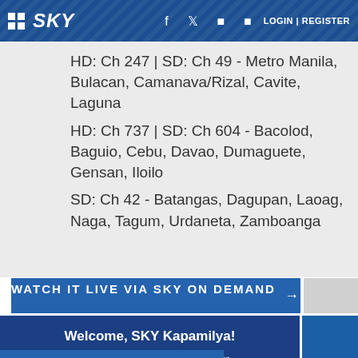SKY | f  LOGIN | REGISTER
HD: Ch 247 | SD: Ch 49 - Metro Manila, Bulacan, Camanava/Rizal, Cavite, Laguna
HD: Ch 737 | SD: Ch 604 - Bacolod, Baguio, Cebu, Davao, Dumaguete, Gensan, Iloilo
SD: Ch 42 - Batangas, Dagupan, Laoag, Naga, Tagum, Urdaneta, Zamboanga
WATCH IT LIVE VIA SKY ON DEMAND →
Welcome, SKY Kapamilya! We use cookies to improve your browsing experience. Continue to use this site means you agree to our use of cookies Tell me more!